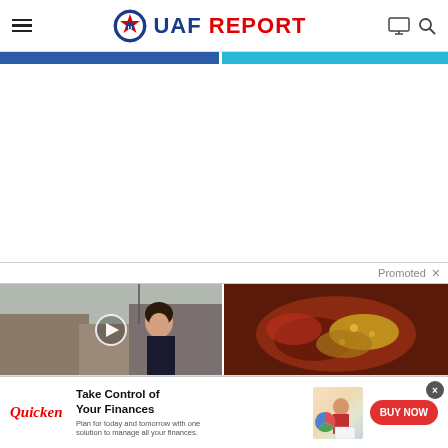UAF REPORT
[Figure (screenshot): Two blue navigation bar strips side by side below the header]
[Figure (photo): Left thumbnail: woman smiling outdoors with play button overlay. Right thumbnail: medical/biological close-up image. Both promoted content thumbnails.]
Promoted ×
[Figure (infographic): Quicken advertisement banner: Take Control of Your Finances. Plan for today and tomorrow with one solution to manage all your finances. BUY NOW button.]